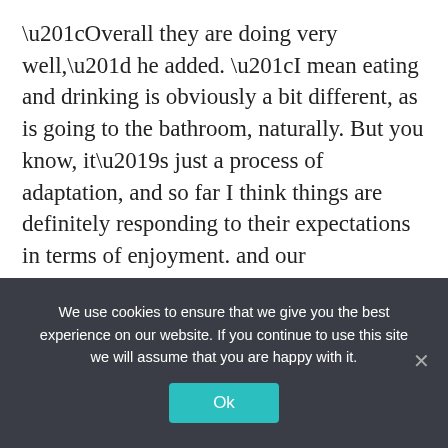“Overall they are doing very well,” he added. “I mean eating and drinking is obviously a bit different, as is going to the bathroom, naturally. But you know, it’s just a process of adaptation, and so far I think things are definitely responding to their expectations in terms of enjoyment. and our expectations in terms of performance. So it was great.”
He said the crew is free to roam the US segment of the space station on their own, including tours of the cupola
We use cookies to ensure that we give you the best experience on our website. If you continue to use this site we will assume that you are happy with it.